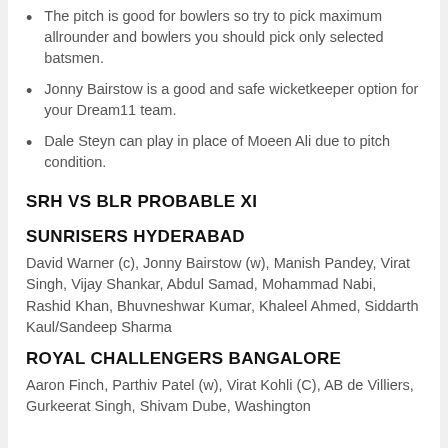The pitch is good for bowlers so try to pick maximum allrounder and bowlers you should pick only selected batsmen.
Jonny Bairstow is a good and safe wicketkeeper option for your Dream11 team.
Dale Steyn can play in place of Moeen Ali due to pitch condition.
SRH VS BLR PROBABLE XI
SUNRISERS HYDERABAD
David Warner (c), Jonny Bairstow (w), Manish Pandey, Virat Singh, Vijay Shankar, Abdul Samad, Mohammad Nabi, Rashid Khan, Bhuvneshwar Kumar, Khaleel Ahmed, Siddarth Kaul/Sandeep Sharma
ROYAL CHALLENGERS BANGALORE
Aaron Finch, Parthiv Patel (w), Virat Kohli (C), AB de Villiers, Gurkeerat Singh, Shivam Dube, Washington